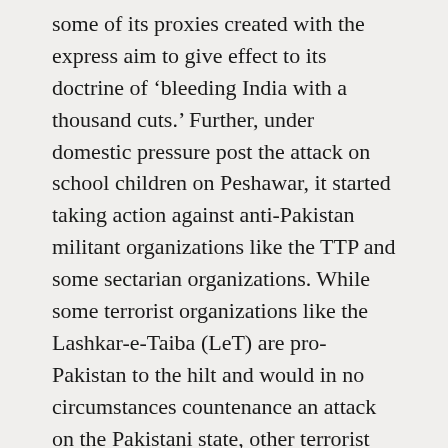some of its proxies created with the express aim to give effect to its doctrine of 'bleeding India with a thousand cuts.' Further, under domestic pressure post the attack on school children on Peshawar, it started taking action against anti-Pakistan militant organizations like the TTP and some sectarian organizations. While some terrorist organizations like the Lashkar-e-Taiba (LeT) are pro-Pakistan to the hilt and would in no circumstances countenance an attack on the Pakistani state, other terrorist groups like the Jaish-e-Mohammad, Al-Badr, Lashkar-e-Jhangvi etc. share an ideological affinity with the militant Islam professed by groups like the Taliban. Recently, there were reports that bodies of 71